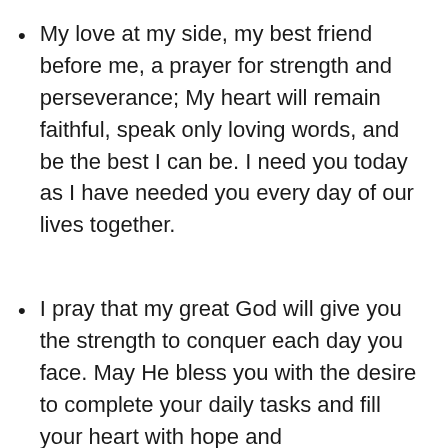My love at my side, my best friend before me, a prayer for strength and perseverance; My heart will remain faithful, speak only loving words, and be the best I can be. I need you today as I have needed you every day of our lives together.
I pray that my great God will give you the strength to conquer each day you face. May He bless you with the desire to complete your daily tasks and fill your heart with hope and encouragement. May His wisdom guide you through all decisions, keeping you